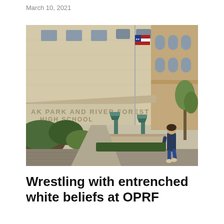March 10, 2021
[Figure (photo): Exterior of Oak Park and River Forest High School building with an American flag on a flagpole and a person walking on the sidewalk in front.]
Wrestling with entrenched white beliefs at OPRF